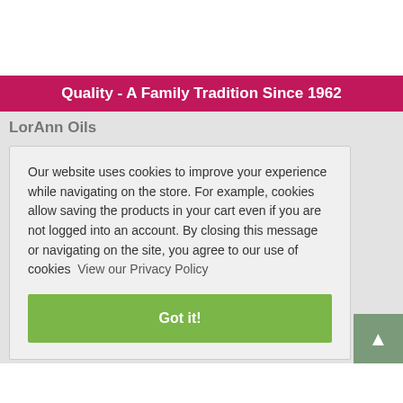Quality - A Family Tradition Since 1962
LorAnn Oils
Our website uses cookies to improve your experience while navigating on the store. For example, cookies allow saving the products in your cart even if you are not logged into an account. By closing this message or navigating on the site, you agree to our use of cookies  View our Privacy Policy
Got it!
About Us